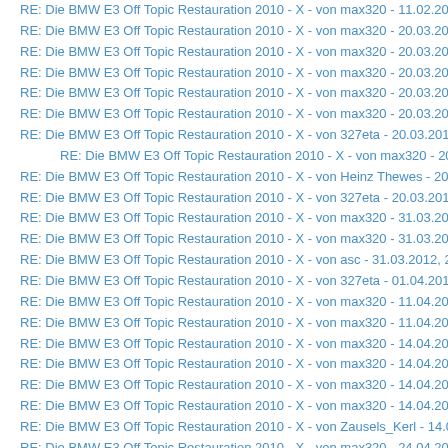RE: Die BMW E3 Off Topic Restauration 2010 - X - von max320 - 11.02.2012
RE: Die BMW E3 Off Topic Restauration 2010 - X - von max320 - 20.03.2012
RE: Die BMW E3 Off Topic Restauration 2010 - X - von max320 - 20.03.2012
RE: Die BMW E3 Off Topic Restauration 2010 - X - von max320 - 20.03.2012
RE: Die BMW E3 Off Topic Restauration 2010 - X - von max320 - 20.03.2012
RE: Die BMW E3 Off Topic Restauration 2010 - X - von max320 - 20.03.2012
RE: Die BMW E3 Off Topic Restauration 2010 - X - von 327eta - 20.03.2012,
RE: Die BMW E3 Off Topic Restauration 2010 - X - von max320 - 20.03.20
RE: Die BMW E3 Off Topic Restauration 2010 - X - von Heinz Thewes - 20.03.
RE: Die BMW E3 Off Topic Restauration 2010 - X - von 327eta - 20.03.2012,
RE: Die BMW E3 Off Topic Restauration 2010 - X - von max320 - 31.03.2012
RE: Die BMW E3 Off Topic Restauration 2010 - X - von max320 - 31.03.2012
RE: Die BMW E3 Off Topic Restauration 2010 - X - von asc - 31.03.2012, 21:
RE: Die BMW E3 Off Topic Restauration 2010 - X - von 327eta - 01.04.2012,
RE: Die BMW E3 Off Topic Restauration 2010 - X - von max320 - 11.04.2012
RE: Die BMW E3 Off Topic Restauration 2010 - X - von max320 - 11.04.2012
RE: Die BMW E3 Off Topic Restauration 2010 - X - von max320 - 14.04.2012
RE: Die BMW E3 Off Topic Restauration 2010 - X - von max320 - 14.04.2012
RE: Die BMW E3 Off Topic Restauration 2010 - X - von max320 - 14.04.2012
RE: Die BMW E3 Off Topic Restauration 2010 - X - von max320 - 14.04.2012
RE: Die BMW E3 Off Topic Restauration 2010 - X - von Zausels_Kerl - 14.04.
RE: Die BMW E3 Off Topic Restauration 2010 - X - von max320 - 24.04.2012
RE: Die BMW E3 Off Topic Restauration 2010 - X - von max320 - 29.04.2012
RE: Die BMW E3 Off Topic Restauration 2010 - X - von max320 - 29.04.2012
RE: Die BMW E3 Off Topic Restauration 2010 - X - von 327eta - 29.04.2012,